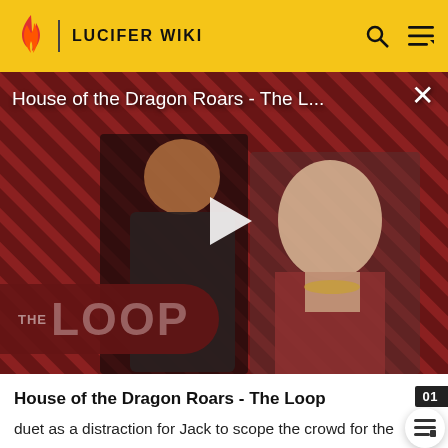LUCIFER WIKI
[Figure (screenshot): House of the Dragon Roars - The Loop video thumbnail showing two characters against a striped red/dark background with THE LOOP logo and a play button]
House of the Dragon Roars - The Loop
duet as a distraction for Jack to scope the crowd for the person who left to follow Shirely. After she handed the bangle to Shirley to place in her safe, he played the piano while Lilith started singing Someone to Watch Over Me